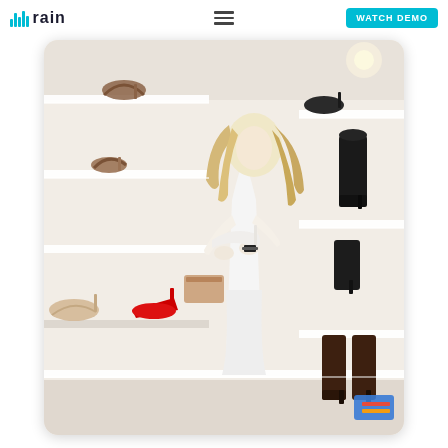rain | WATCH DEMO
[Figure (photo): A blonde woman in a white dress standing in a shoe boutique, holding a white high-heeled shoe. The store shelves display various shoes including red stilettos, brown heels, and black boots. Multiple shelves with assorted footwear visible in the background.]